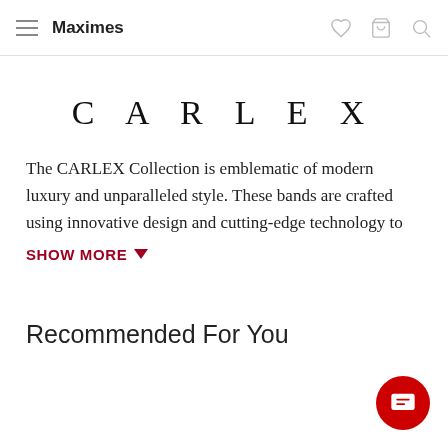Maximes
CARLEX
The CARLEX Collection is emblematic of modern luxury and unparalleled style. These bands are crafted using innovative design and cutting-edge technology to
SHOW MORE
Recommended For You